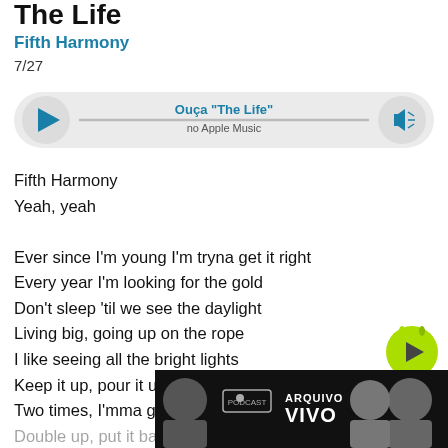The Life
Fifth Harmony
7/27
[Figure (infographic): Audio player bar with play button on left, 'Ouça "The Life"' title and 'no Apple Music' subtitle in center, volume button on right, horizontal progress line]
Fifth Harmony
Yeah, yeah

Ever since I'm young I'm tryna get it right
Every year I'm looking for the gold
Don't sleep 'til we see the daylight
Living big, going up on the rope
I like seeing all the bright lights
Keep it up, pour it up for the night
Two times, I'mma get it two times
Double up, put it back on my mind

This is the life, life, life
[Figure (logo): Advertisement banner: Podcast Arquivo Vivo with two male faces and microphone icon]
[Figure (other): Green circular play button overlay]